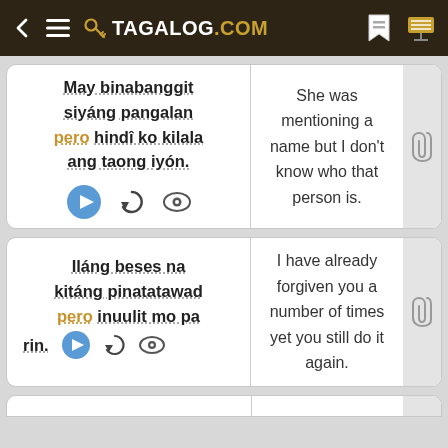TAGALOG.COM
May binabanggit siyáng pangalan pero hindî ko kilala ang taong iyón.
She was mentioning a name but I don't know who that person is.
Iláng beses na kitáng pinatatawad pero inuulit mo pa rin.
I have already forgiven you a number of times yet you still do it again.